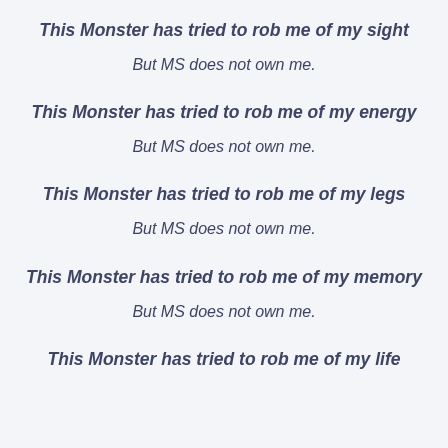This Monster has tried to rob me of my sight
But MS does not own me.
This Monster has tried to rob me of my energy
But MS does not own me.
This Monster has tried to rob me of my legs
But MS does not own me.
This Monster has tried to rob me of my memory
But MS does not own me.
This Monster has tried to rob me of my life